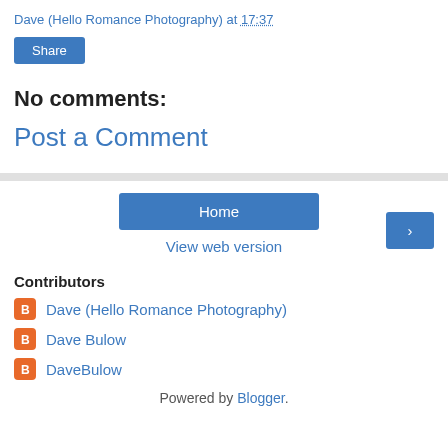Dave (Hello Romance Photography) at 17:37
Share
No comments:
Post a Comment
Home
>
View web version
Contributors
Dave (Hello Romance Photography)
Dave Bulow
DaveBulow
Powered by Blogger.